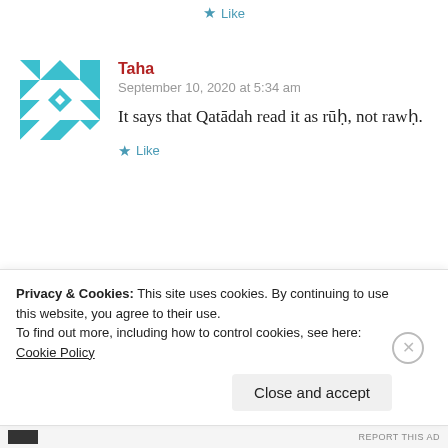★ Like
[Figure (illustration): Teal geometric mosaic avatar for user Taha]
Taha
September 10, 2020 at 5:34 am
It says that Qatādah read it as rūḥ, not rawḥ.
★ Like
[Figure (illustration): Red geometric mosaic avatar for user Amirul Afiq]
Amirul Afiq
Privacy & Cookies: This site uses cookies. By continuing to use this website, you agree to their use.
To find out more, including how to control cookies, see here: Cookie Policy
Close and accept